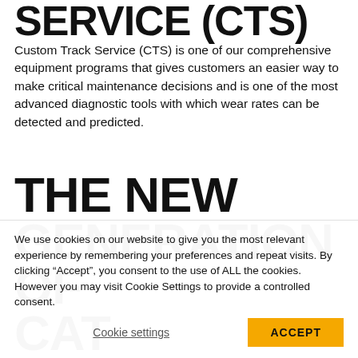SERVICE (CTS)
Custom Track Service (CTS) is one of our comprehensive equipment programs that gives customers an easier way to make critical maintenance decisions and is one of the most advanced diagnostic tools with which wear rates can be detected and predicted.
THE NEW GENERATION OF CAT ADVANSYS DRILLING TOOLS
We use cookies on our website to give you the most relevant experience by remembering your preferences and repeat visits. By clicking “Accept”, you consent to the use of ALL the cookies. However you may visit Cookie Settings to provide a controlled consent.
Cookie settings | ACCEPT